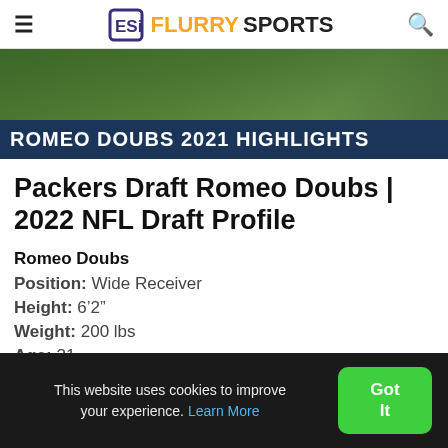FlurrySports
[Figure (photo): Football player making a catch on a green field with text overlay banner reading ROMEO DOUBS 2021 HIGHLIGHTS on a dark blue background]
Packers Draft Romeo Doubs | 2022 NFL Draft Profile
Romeo Doubs
Position: Wide Receiver
Height: 6'2"
Weight: 200 lbs
Age: 21
This website uses cookies to improve your experience. Learn More  Got It